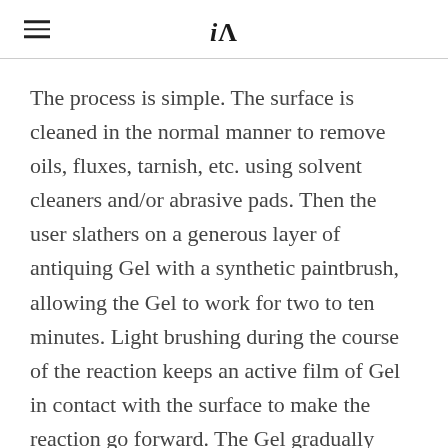iA
The process is simple. The surface is cleaned in the normal manner to remove oils, fluxes, tarnish, etc. using solvent cleaners and/or abrasive pads. Then the user slathers on a generous layer of antiquing Gel with a synthetic paintbrush, allowing the Gel to work for two to ten minutes. Light brushing during the course of the reaction keeps an active film of Gel in contact with the surface to make the reaction go forward. The Gel gradually darkens the surface.
When the desired depth of black or brown tone is achieved, the Gel is rinsed off with a wet sponge and the surface is dried. The finish is clean and